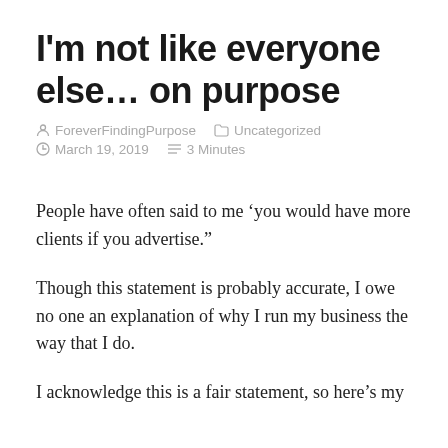I'm not like everyone else… on purpose
ForeverFindingPurpose   Uncategorized   March 19, 2019   3 Minutes
People have often said to me ‘you would have more clients if you advertise.”
Though this statement is probably accurate, I owe no one an explanation of why I run my business the way that I do.
I acknowledge this is a fair statement, so here’s my